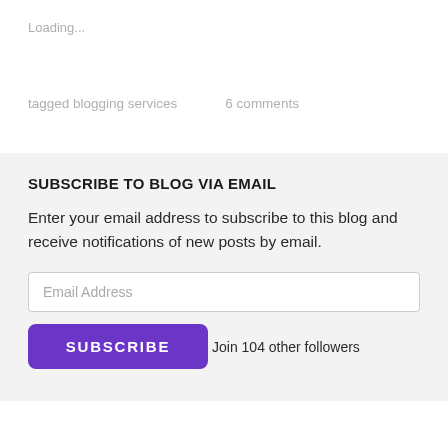Loading...
tagged blogging services     6 comments
SUBSCRIBE TO BLOG VIA EMAIL
Enter your email address to subscribe to this blog and receive notifications of new posts by email.
Email Address
SUBSCRIBE
Join 104 other followers